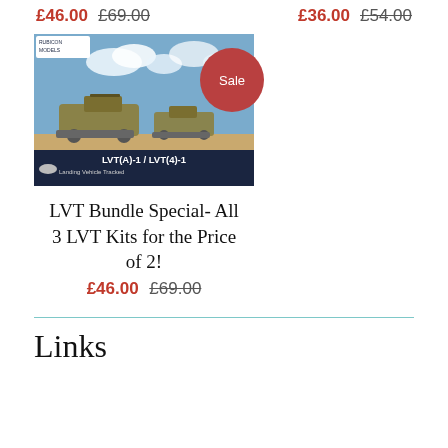£46.00 £69.00  |  £36.00 £54.00
[Figure (photo): Product box image for Rubicon Models LVT(A)-1 / LVT-1 Landing Vehicle Tracked scale model kit, showing amphibious military vehicles on a beach with a red Sale badge overlay]
LVT Bundle Special- All 3 LVT Kits for the Price of 2!
£46.00 £69.00
Links